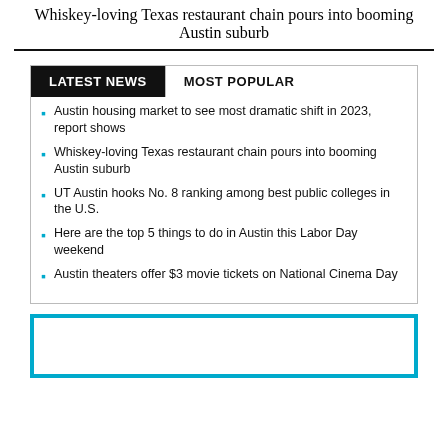Whiskey-loving Texas restaurant chain pours into booming Austin suburb
Austin housing market to see most dramatic shift in 2023, report shows
Whiskey-loving Texas restaurant chain pours into booming Austin suburb
UT Austin hooks No. 8 ranking among best public colleges in the U.S.
Here are the top 5 things to do in Austin this Labor Day weekend
Austin theaters offer $3 movie tickets on National Cinema Day